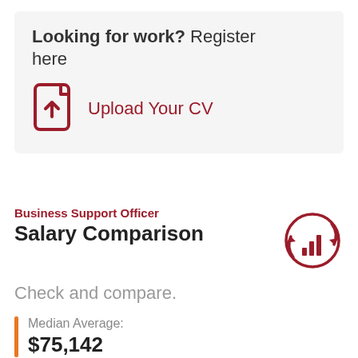Looking for work? Register here
[Figure (illustration): Upload Your CV icon with a document and upward arrow, in dark red, with text 'Upload Your CV' in dark red]
Business Support Officer
Salary Comparison
[Figure (illustration): Circular arrows icon with bar chart inside, in dark red]
Check and compare.
Median Average:
$75,142